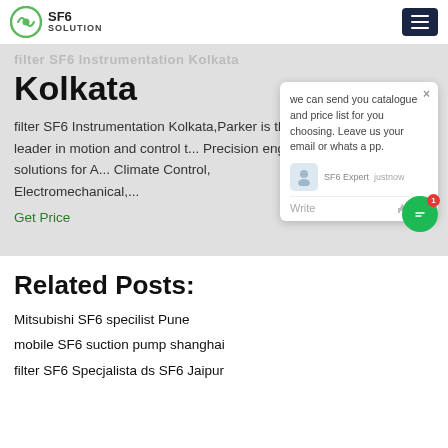SF6 SOLUTION
Kolkata
filter SF6 Instrumentation Kolkata,Parker is the global leader in motion and control t... Precision engineered solutions for A... Climate Control, Electromechanical,...
Get Price
[Figure (screenshot): Chat popup with message: we can send you catalogue and price list for you choosing. Leave us your email or whatsapp. SF6 Expert just now. Write area with icons.]
Related Posts:
Mitsubishi SF6 specilist Pune
mobile SF6 suction pump shanghai
filter SF6 Specjalista ds SF6 Jaipur